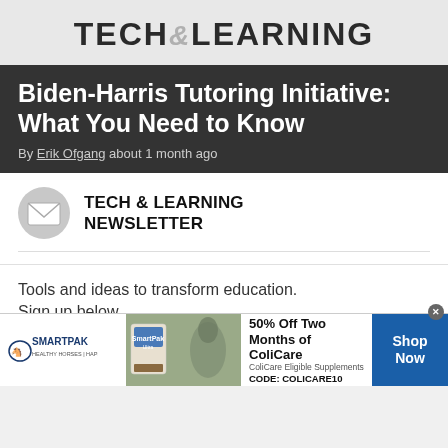TECH&LEARNING
Biden-Harris Tutoring Initiative: What You Need to Know
By Erik Ofgang about 1 month ago
TECH & LEARNING NEWSLETTER
Tools and ideas to transform education. Sign up below.
Your Email Address
I consent the use of my personal data in
[Figure (infographic): SmartPak advertisement banner: 50% Off Two Months of ColiCare, ColiCare Eligible Supplements, CODE: COLICARE10, Shop Now button]